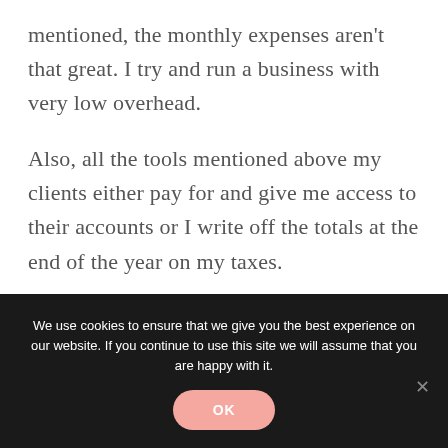mentioned, the monthly expenses aren't that great. I try and run a business with very low overhead.
Also, all the tools mentioned above my clients either pay for and give me access to their accounts or I write off the totals at the end of the year on my taxes.
We use cookies to ensure that we give you the best experience on our website. If you continue to use this site we will assume that you are happy with it.